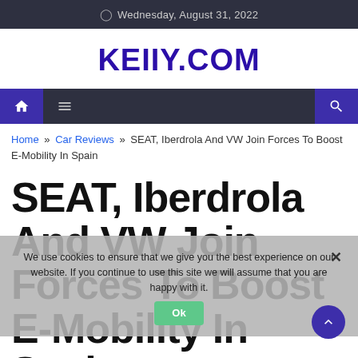Wednesday, August 31, 2022
KEIIY.COM
Home » Car Reviews » SEAT, Iberdrola And VW Join Forces To Boost E-Mobility In Spain
SEAT, Iberdrola And VW Join Forces To Boost E-Mobility In Spain
We use cookies to ensure that we give you the best experience on our website. If you continue to use this site we will assume that you are happy with it.